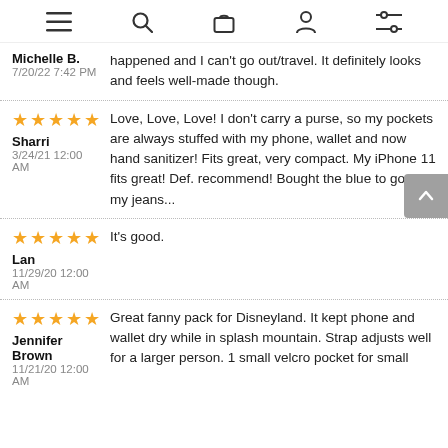Navigation icons: menu, search, bag, account, filters
happened and I can't go out/travel. It definitely looks and feels well-made though.
Michelle B.
7/20/22 7:42 PM
★★★★★
Sharri
3/24/21 12:00 AM
Love, Love, Love! I don't carry a purse, so my pockets are always stuffed with my phone, wallet and now hand sanitizer! Fits great, very compact. My iPhone 11 fits great! Def. recommend! Bought the blue to go with my jeans...
★★★★★
Lan
11/29/20 12:00 AM
It's good.
★★★★★
Jennifer Brown
11/21/20 12:00 AM
Great fanny pack for Disneyland. It kept phone and wallet dry while in splash mountain. Strap adjusts well for a larger person. 1 small velcro pocket for small